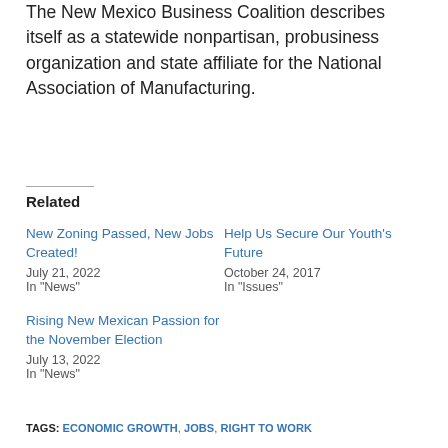The New Mexico Business Coalition describes itself as a statewide nonpartisan, probusiness organization and state affiliate for the National Association of Manufacturing.
Related
New Zoning Passed, New Jobs Created!
July 21, 2022
In "News"
Help Us Secure Our Youth's Future
October 24, 2017
In "Issues"
Rising New Mexican Passion for the November Election
July 13, 2022
In "News"
TAGS: ECONOMIC GROWTH, JOBS, RIGHT TO WORK